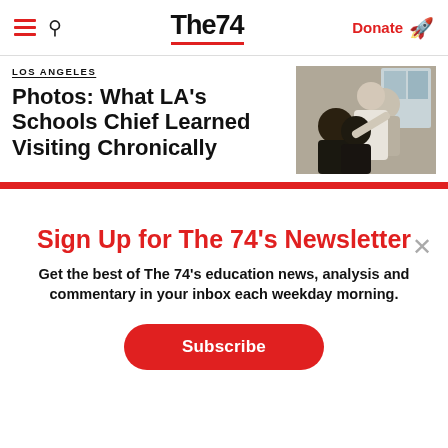The74 — Donate
LOS ANGELES
Photos: What LA's Schools Chief Learned Visiting Chronically
[Figure (photo): Photo of LA schools chief visiting schools, people embracing or interacting in a group setting]
Sign Up for The 74's Newsletter
Get the best of The 74's education news, analysis and commentary in your inbox each weekday morning.
Subscribe